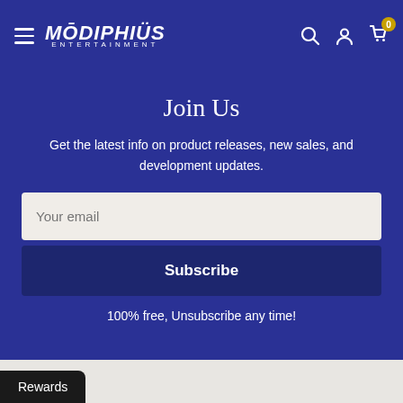Modiphius Entertainment — navigation bar with menu, logo, search, account, and cart (0 items)
Join Us
Get the latest info on product releases, new sales, and development updates.
Your email
Subscribe
100% free, Unsubscribe any time!
Rewards